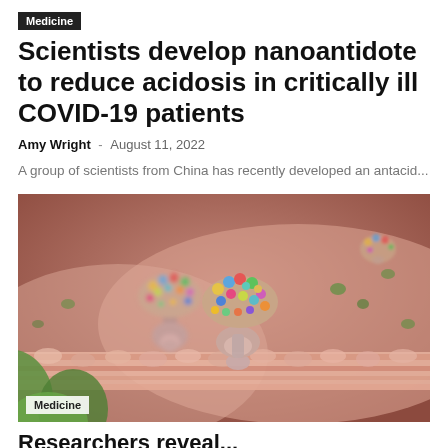Medicine
Scientists develop nanoantidote to reduce acidosis in critically ill COVID-19 patients
Amy Wright  -  August 11, 2022
A group of scientists from China has recently developed an antacid...
[Figure (illustration): 3D illustration of coronavirus particles (with colorful spike proteins) attached to cell membrane receptors, with green objects in foreground, on a pink/salmon colored cell surface background]
Medicine
Researchers reveal...